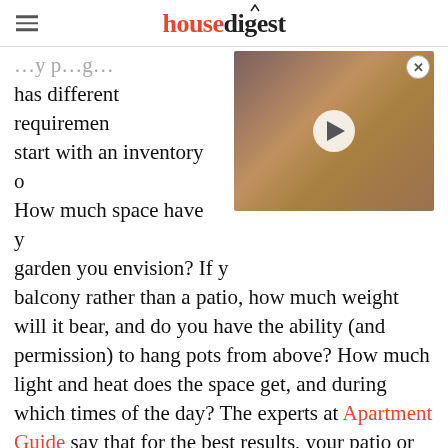housedigest
has different requirements. start with an inventory of How much space have you garden you envision? If you balcony rather than a patio, how much weight will it bear, and do you have the ability (and permission) to hang pots from above? How much light and heat does the space get, and during which times of the day? The experts at Apartment Guide say that for the best results, your patio or balcony needs between four and six hours of direct sunlight. You'll want to be mindful in an urban environment of other buildings that may cast shadows on your
[Figure (photo): A man wearing a dark maroon beanie hat with a beard, with a video play button overlay, suggesting an embedded video thumbnail.]